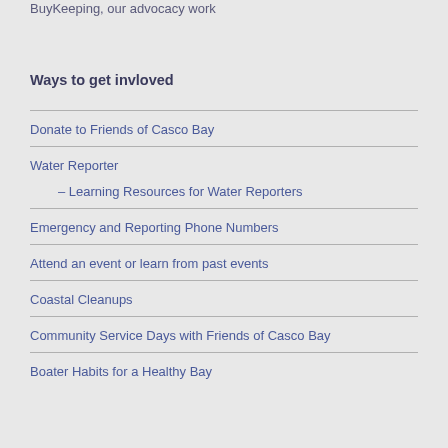BuyKeeping, our advocacy work
Ways to get invloved
Donate to Friends of Casco Bay
Water Reporter
– Learning Resources for Water Reporters
Emergency and Reporting Phone Numbers
Attend an event or learn from past events
Coastal Cleanups
Community Service Days with Friends of Casco Bay
Boater Habits for a Healthy Bay